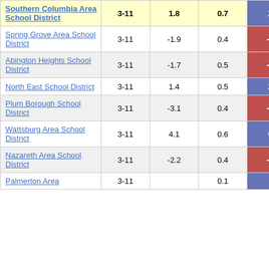| District | Grades | Col3 | Col4 | Score |
| --- | --- | --- | --- | --- |
| Southern Columbia Area School District | 3-11 | 1.8 | 0.7 | 2.83 |
| Spring Grove Area School District | 3-11 | -1.9 | 0.4 | -4.85 |
| Abington Heights School District | 3-11 | -1.7 | 0.5 | -3.75 |
| North East School District | 3-11 | 1.4 | 0.5 | 2.61 |
| Plum Borough School District | 3-11 | -3.1 | 0.4 | -7.49 |
| Wattsburg Area School District | 3-11 | 4.1 | 0.6 | 6.55 |
| Nazareth Area School District | 3-11 | -2.2 | 0.4 | -5.78 |
| Palmerton Area ... | 3-11 | ... | 0.1 | 5.04 |